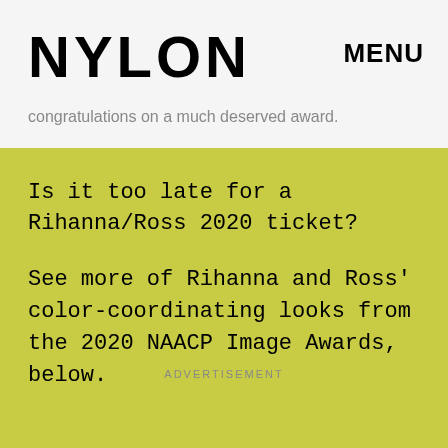NYLON   MENU
congratulations on a much deserved award.
Is it too late for a Rihanna/Ross 2020 ticket?
See more of Rihanna and Ross' color-coordinating looks from the 2020 NAACP Image Awards, below.
ADVERTISEMENT